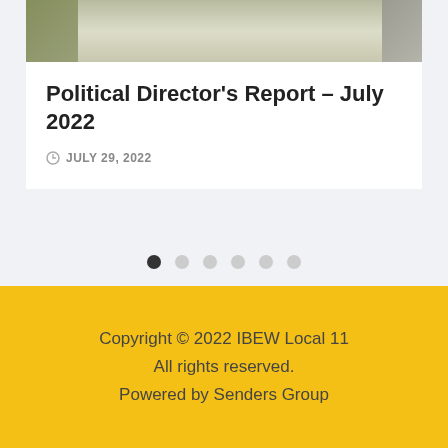[Figure (photo): Partial view of a document/article thumbnail image showing a decorative background with figures]
Political Director's Report – July 2022
JULY 29, 2022
[Figure (infographic): Pagination dots navigation: 6 dots with first dot active (dark), remaining 5 dots grey]
Copyright © 2022 IBEW Local 11
All rights reserved.
Powered by Senders Group